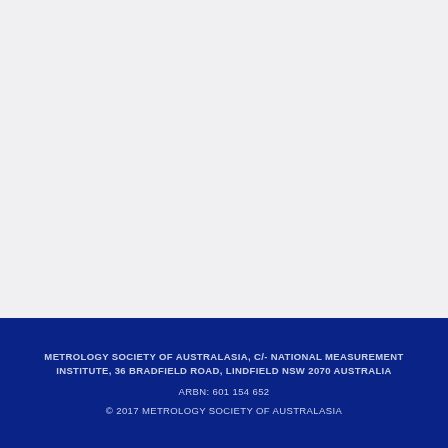METROLOGY SOCIETY OF AUSTRALASIA, C/- NATIONAL MEASUREMENT INSTITUTE, 36 BRADFIELD ROAD, LINDFIELD NSW 2070 AUSTRALIA

ARBN: 601 154 652

© 2017 METROLOGY SOCIETY OF AUSTRALASIA